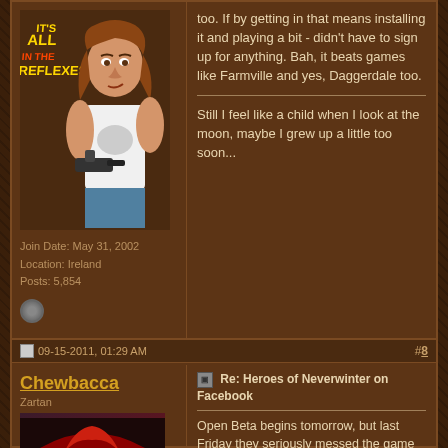[Figure (illustration): Forum post avatar: cartoon illustration of a muscular man with long brown hair holding a gun, with text 'IT'S ALL IN THE REFLEXES' in yellow/red retro style]
Join Date: May 31, 2002
Location: Ireland
Posts: 5,854
too. If by getting in that means installing it and playing a bit - didn't have to sign up for anything. Bah, it beats games like Farmville and yes, Daggerdale too.

Still I feel like a child when I look at the moon, maybe I grew up a little too soon...
09-15-2011, 01:29 AM
#8
Chewbacca
Zartan
Re: Heroes of Neverwinter on Facebook
Open Beta begins tomorrow, but last Friday they seriously messed the game up with a bug-ridden update. Every attack made hits and far max
[Figure (illustration): Forum post avatar: comic book style illustration of a female character with red hair and mask, wearing armor]